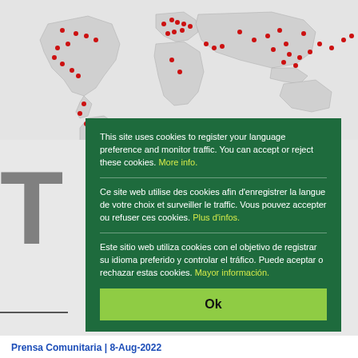[Figure (map): World map with red dots indicating locations/traffic sources across various countries]
This site uses cookies to register your language preference and monitor traffic. You can accept or reject these cookies. More info.
Ce site web utilise des cookies afin d'enregistrer la langue de votre choix et surveiller le traffic. Vous pouvez accepter ou refuser ces cookies. Plus d'infos.
Este sitio web utiliza cookies con el objetivo de registrar su idioma preferido y controlar el tráfico. Puede aceptar o rechazar estas cookies. Mayor información.
Ok
Prensa Comunitaria | 8-Aug-2022